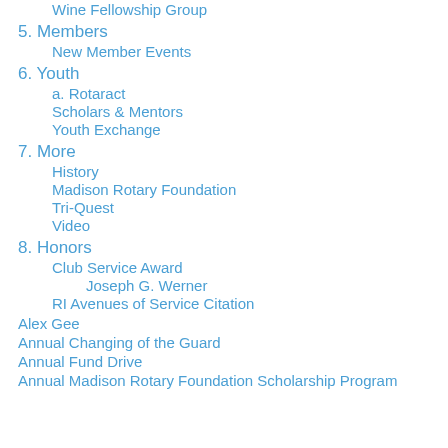Wine Fellowship Group
5. Members
New Member Events
6. Youth
a. Rotaract
Scholars & Mentors
Youth Exchange
7. More
History
Madison Rotary Foundation
Tri-Quest
Video
8. Honors
Club Service Award
Joseph G. Werner
RI Avenues of Service Citation
Alex Gee
Annual Changing of the Guard
Annual Fund Drive
Annual Madison Rotary Foundation Scholarship Program